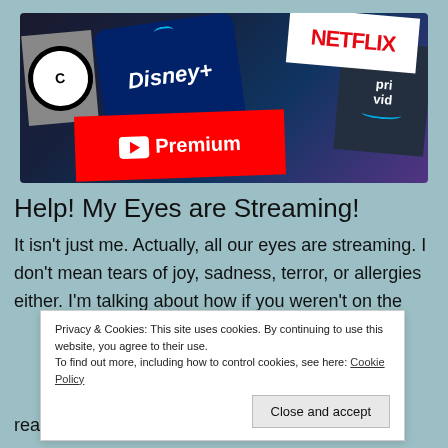[Figure (photo): Collage of streaming service logos including Disney+, Netflix, Amazon Prime Video, YouTube Premium, and Cartoon Network on a teal/grey background]
Help! My Eyes are Streaming!
It isn't just me. Actually, all our eyes are streaming. I don't mean tears of joy, sadness, terror, or allergies either. I'm talking about how if you weren't on the
Privacy & Cookies: This site uses cookies. By continuing to use this website, you agree to their use.
To find out more, including how to control cookies, see here: Cookie Policy
really brilliant content … Continue reading